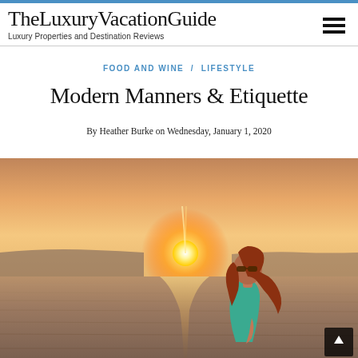TheLuxuryVacationGuide — Luxury Properties and Destination Reviews
FOOD AND WINE / LIFESTYLE
Modern Manners & Etiquette
By Heather Burke on Wednesday, January 1, 2020
[Figure (photo): Woman with auburn hair and sunglasses standing in front of a golden sunset over calm water, viewed from a boat. The sun is low on the horizon casting a bright glowing reflection on the water.]